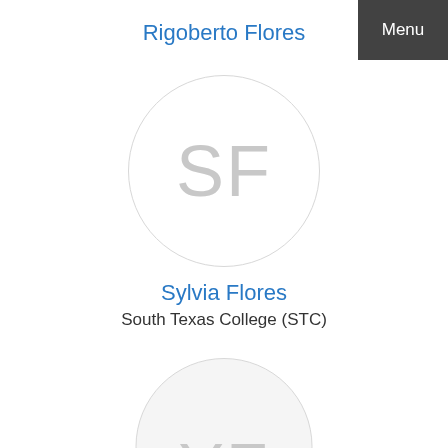Rigoberto Flores
[Figure (illustration): Avatar circle with initials SF for Sylvia Flores]
Sylvia Flores
South Texas College (STC)
[Figure (illustration): Partially visible avatar circle with initials YF at bottom of page]
Menu